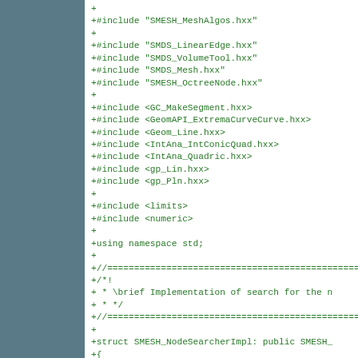[Figure (screenshot): Code diff view showing added lines (prefixed with +) of C++ source code including #include directives for SMESH and SMDS headers, geometry headers, standard headers, using namespace statement, and beginning of a struct definition for SMESH_NodeSearcherImpl]